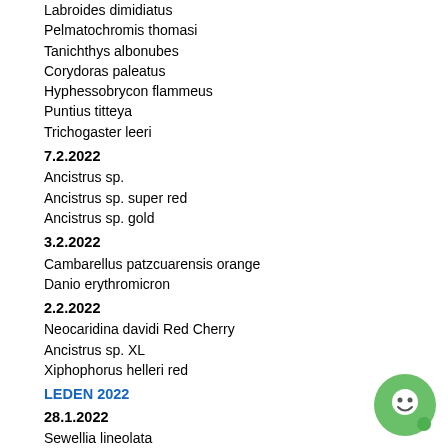Labroides dimidiatus
Pelmatochromis thomasi
Tanichthys albonubes
Corydoras paleatus
Hyphessobrycon flammeus
Puntius titteya
Trichogaster leeri
7.2.2022
Ancistrus sp.
Ancistrus sp. super red
Ancistrus sp. gold
3.2.2022
Cambarellus patzcuarensis orange
Danio erythromicron
2.2.2022
Neocaridina davidi Red Cherry
Ancistrus sp. XL
Xiphophorus helleri red
LEDEN 2022
28.1.2022
Sewellia lineolata
Thorichthys meeki Rio Usumacinta
Xiphophorus maculatus
Ancistrus sp.
27.1.2022
Paracheirodon innesi
26.1.2022
Xiphophorus maculatus Sunset Comet
Xiphophorus maculatus Marlboro Red